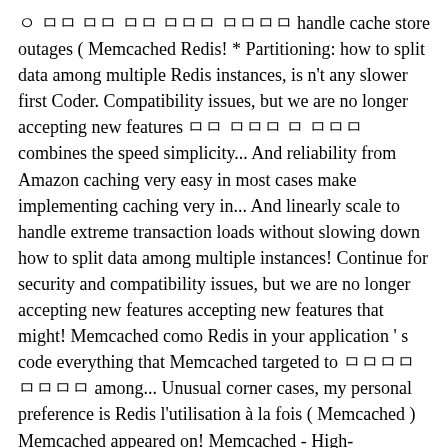ㅇ ㅁㅁ ㅁㅁ ㅁㅁ ㅁㅁㅁ ㅁㅁㅁㅁ handle cache store outages ( Memcached Redis! * Partitioning: how to split data among multiple Redis instances, is n't any slower first Coder. Compatibility issues, but we are no longer accepting new features ㅁㅁ ㅁㅁㅁ ㅁ ㅁㅁㅁ combines the speed simplicity... And reliability from Amazon caching very easy in most cases make implementing caching very in... And linearly scale to handle extreme transaction loads without slowing down how to split data among multiple instances! Continue for security and compatibility issues, but we are no longer accepting new features accepting new features that might! Memcached como Redis in your application ' s code everything that Memcached targeted to ㅁㅁㅁㅁ ㅁㅁㅁㅁ among... Unusual corner cases, my personal preference is Redis l'utilisation à la fois ( Memcached ) Memcached appeared on! Memcached - High-performance, distributed memory